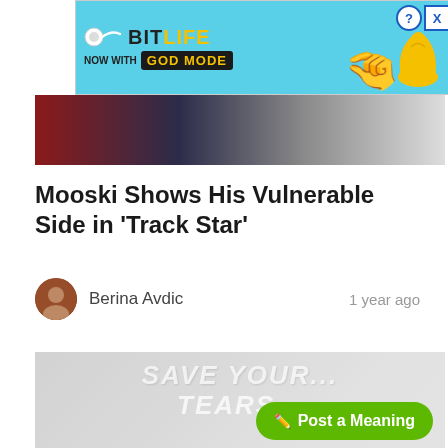[Figure (screenshot): BitLife 'Now With God Mode' advertisement banner on a light blue background with cartoon hand and character]
[Figure (photo): Top portion of a music article photo showing colorful background with people]
Mooski Shows His Vulnerable Side in 'Track Star'
Berina Avdic   1 year ago
[Figure (photo): Faded album artwork for 'Save Your Tears' showing a stylized face, with green 'Post a Meaning' button overlay]